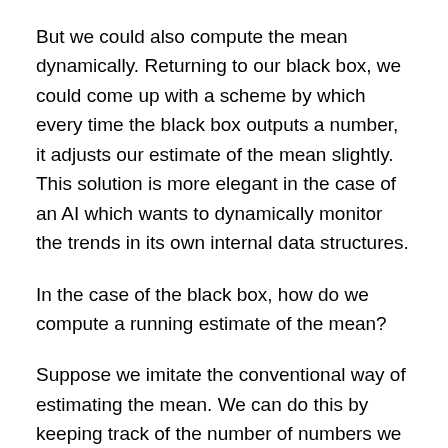But we could also compute the mean dynamically. Returning to our black box, we could come up with a scheme by which every time the black box outputs a number, it adjusts our estimate of the mean slightly. This solution is more elegant in the case of an AI which wants to dynamically monitor the trends in its own internal data structures.
In the case of the black box, how do we compute a running estimate of the mean?
Suppose we imitate the conventional way of estimating the mean. We can do this by keeping track of the number of numbers we have observed (the sample size), and a running sum of all of the numbers we have observed. Every time a new number comes down the pipe, we add one to the sample size, add the number to the running